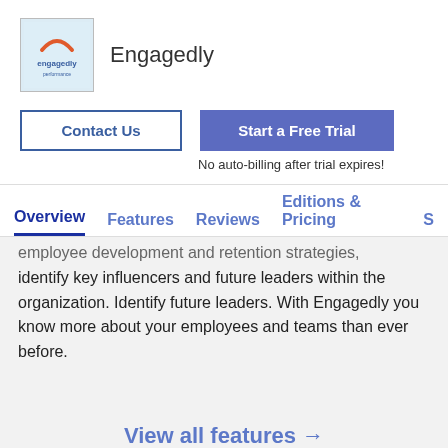[Figure (logo): Engagedly company logo — light blue square with orange arc and blue text 'engagedly']
Engagedly
Contact Us
Start a Free Trial
No auto-billing after trial expires!
Overview   Features   Reviews   Editions & Pricing   S
employee development and retention strategies, identify key influencers and future leaders within the organization. Identify future leaders. With Engagedly you know more about your employees and teams than ever before.
View all features →